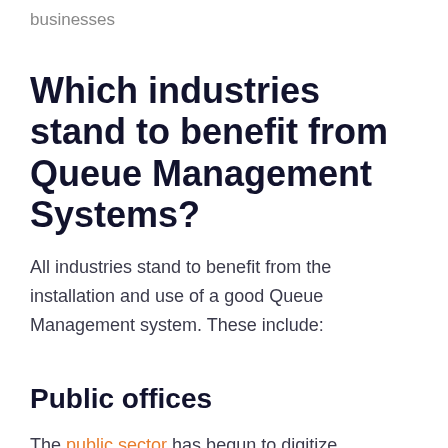businesses
Which industries stand to benefit from Queue Management Systems?
All industries stand to benefit from the installation and use of a good Queue Management system. These include:
Public offices
The public sector has begun to digitize